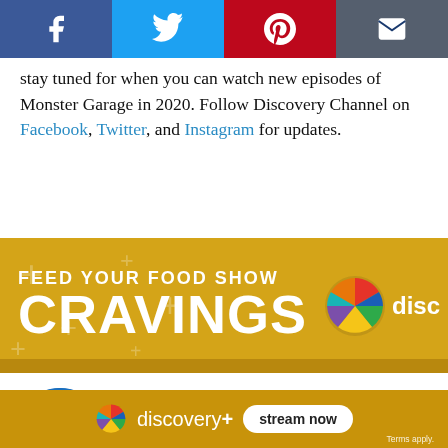[Figure (other): Social share bar with Facebook, Twitter, Pinterest, and email icons]
stay tuned for when you can watch new episodes of Monster Garage in 2020. Follow Discovery Channel on Facebook, Twitter, and Instagram for updates.
[Figure (infographic): Discovery+ advertisement banner: FEED YOUR FOOD SHOW CRAVINGS with Discovery+ logo]
[Figure (photo): Motor category thumbnail - circular image of a red car engine]
Motor
[Figure (infographic): Discovery+ bottom ad: stream now button with Terms apply text]